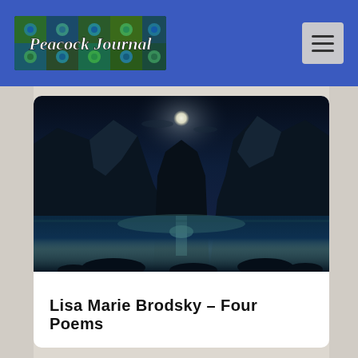Peacock Journal
[Figure (photo): Moonlit mountain fjord landscape with a glowing lake in the foreground under a full moon, dark blue tones, rocky mountains on both sides]
Lisa Marie Brodsky – Four Poems